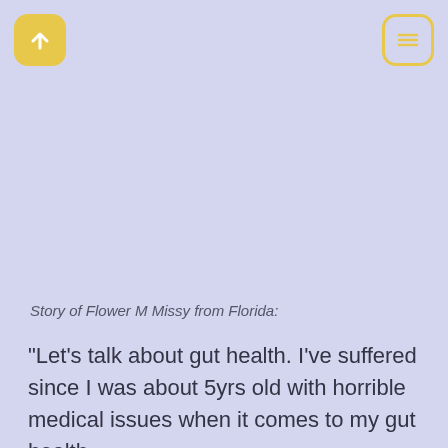[Figure (other): Yellow rounded square button with upward arrow icon, top-left corner]
[Figure (other): Yellow rounded square outline button with hamburger menu icon, top-right corner]
Story of Flower M Missy from Florida:
“Let’s talk about gut health. I’ve suffered since I was about 5yrs old with horrible medical issues when it comes to my gut health.